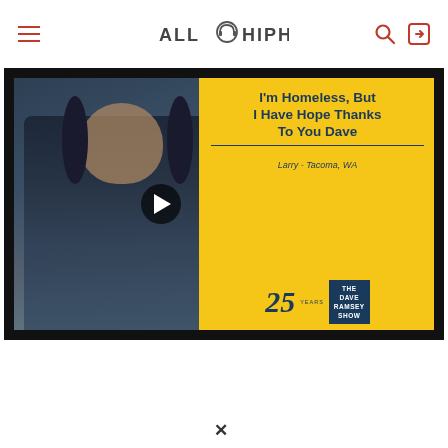ALL HIP HOP
[Figure (screenshot): Video thumbnail showing a man with headphones (Dave Ramsey show) on the left, and a yellow panel on the right with text 'I'm Homeless, But I Have Hope Thanks To You Dave' attributed to 'Larry - Tacoma, WA', with the Dave Ramsey Show 25 Years logo. A play button is centered over the thumbnail.]